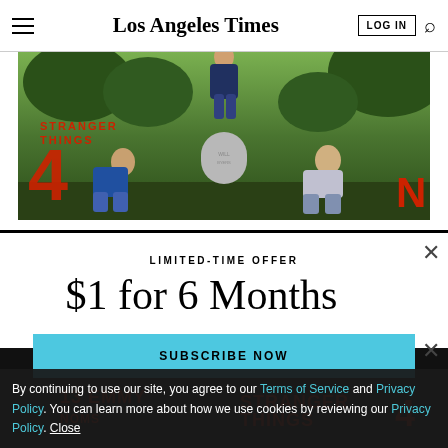Los Angeles Times
[Figure (photo): Stranger Things Season 4 Netflix advertisement showing cast members sitting in a graveyard with the Stranger Things logo and number 4 in red, Netflix N logo on right]
LIMITED-TIME OFFER
$1 for 6 Months
SUBSCRIBE NOW
By continuing to use our site, you agree to our Terms of Service and Privacy Policy. You can learn more about how we use cookies by reviewing our Privacy Policy. Close